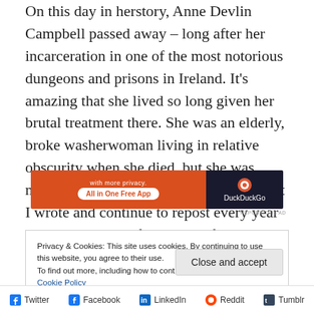On this day in herstory, Anne Devlin Campbell passed away – long after her incarceration in one of the most notorious dungeons and prisons in Ireland. It's amazing that she lived so long given her brutal treatment there. She was an elderly, broke washerwoman living in relative obscurity when she died, but she was never broken. This is some of her tale that I wrote and continue to repost every year in remembrance of this powerful woman.
[Figure (other): DuckDuckGo advertisement banner: orange left side with 'All in One Free App' button, dark right side with DuckDuckGo logo and text. 'REPORT THIS AD' label below.]
Privacy & Cookies: This site uses cookies. By continuing to use this website, you agree to their use.
To find out more, including how to control cookies, see here: Cookie Policy
Close and accept
Twitter  Facebook  LinkedIn  Reddit  Tumblr